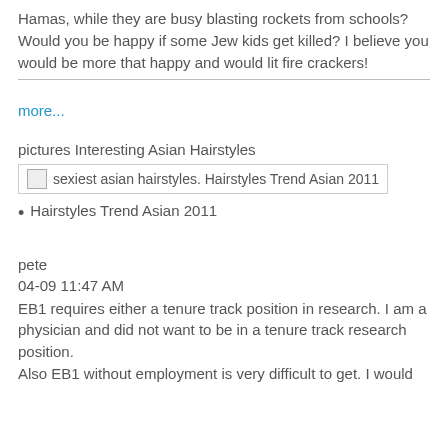Hamas, while they are busy blasting rockets from schools? Would you be happy if some Jew kids get killed? I believe you would be more that happy and would lit fire crackers!
more...
pictures Interesting Asian Hairstyles
[Figure (screenshot): Broken image placeholder with alt text: sexiest asian hairstyles. Hairstyles Trend Asian 2011]
Hairstyles Trend Asian 2011
pete
04-09 11:47 AM
EB1 requires either a tenure track position in research. I am a physician and did not want to be in a tenure track research position.
Also EB1 without employment is very difficult to get. I would